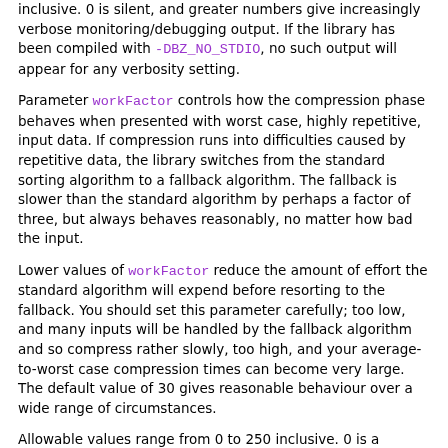inclusive. 0 is silent, and greater numbers give increasingly verbose monitoring/debugging output. If the library has been compiled with -DBZ_NO_STDIO, no such output will appear for any verbosity setting.
Parameter workFactor controls how the compression phase behaves when presented with worst case, highly repetitive, input data. If compression runs into difficulties caused by repetitive data, the library switches from the standard sorting algorithm to a fallback algorithm. The fallback is slower than the standard algorithm by perhaps a factor of three, but always behaves reasonably, no matter how bad the input.
Lower values of workFactor reduce the amount of effort the standard algorithm will expend before resorting to the fallback. You should set this parameter carefully; too low, and many inputs will be handled by the fallback algorithm and so compress rather slowly, too high, and your average-to-worst case compression times can become very large. The default value of 30 gives reasonable behaviour over a wide range of circumstances.
Allowable values range from 0 to 250 inclusive. 0 is a special case, equivalent to using the default value of 30.
Note that the compressed output generated is the same regardless of whether or not the fallback algorithm is used.
Be aware also that this parameter may disappear entirely in future versions of the library. In principle it should be possible to devise a good way to automatically choose which algorithm to use. Such a mechanism would render the parameter obsolete.
Possible return values: